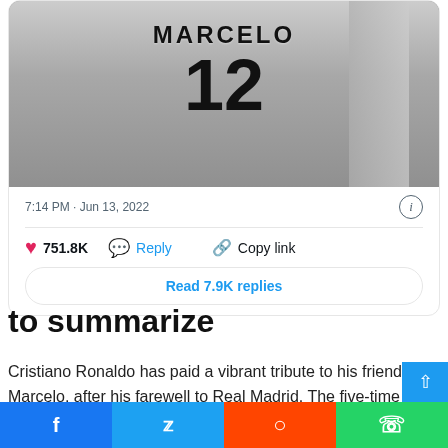[Figure (photo): Black and white photo of soccer players from behind, one wearing a jersey labeled MARCELO with number 12]
7:14 PM · Jun 13, 2022
751.8K   Reply   Copy link
Read 7.9K replies
to summarize
Cristiano Ronaldo has paid a vibrant tribute to his friend Marcelo, after his farewell to Real Madrid. The five-time Ballon d'Or winner indicates that football has given him a brother and...